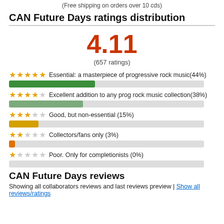(Free shipping on orders over 10 cds)
CAN Future Days ratings distribution
4.11
(657 ratings)
★★★★★ Essential: a masterpiece of progressive rock music(44%)
★★★★☆ Excellent addition to any prog rock music collection(38%)
★★★☆☆ Good, but non-essential (15%)
★★☆☆☆ Collectors/fans only (3%)
★☆☆☆☆ Poor. Only for completionists (0%)
CAN Future Days reviews
Showing all collaborators reviews and last reviews preview | Show all reviews/ratings